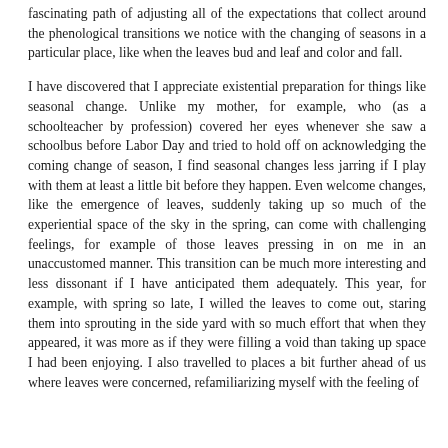fascinating path of adjusting all of the expectations that collect around the phenological transitions we notice with the changing of seasons in a particular place, like when the leaves bud and leaf and color and fall.
I have discovered that I appreciate existential preparation for things like seasonal change. Unlike my mother, for example, who (as a schoolteacher by profession) covered her eyes whenever she saw a schoolbus before Labor Day and tried to hold off on acknowledging the coming change of season, I find seasonal changes less jarring if I play with them at least a little bit before they happen. Even welcome changes, like the emergence of leaves, suddenly taking up so much of the experiential space of the sky in the spring, can come with challenging feelings, for example of those leaves pressing in on me in an unaccustomed manner. This transition can be much more interesting and less dissonant if I have anticipated them adequately. This year, for example, with spring so late, I willed the leaves to come out, staring them into sprouting in the side yard with so much effort that when they appeared, it was more as if they were filling a void than taking up space I had been enjoying. I also travelled to places a bit further ahead of us where leaves were concerned, refamiliarizing myself with the feeling of